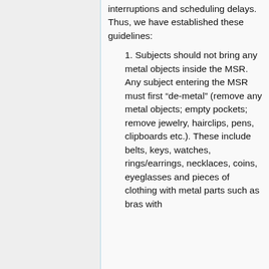interruptions and scheduling delays. Thus, we have established these guidelines:
1. Subjects should not bring any metal objects inside the MSR. Any subject entering the MSR must first “de-metal” (remove any metal objects; empty pockets; remove jewelry, hairclips, pens, clipboards etc.). These include belts, keys, watches, rings/earrings, necklaces, coins, eyeglasses and pieces of clothing with metal parts such as bras with